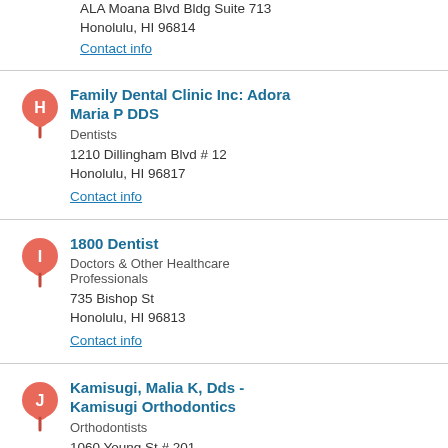ALA Moana Blvd Bldg Suite 713
Honolulu, HI 96814
Contact info
Family Dental Clinic Inc: Adora Maria P DDS
Dentists
1210 Dillingham Blvd # 12
Honolulu, HI 96817
Contact info
1800 Dentist
Doctors & Other Healthcare Professionals
735 Bishop St
Honolulu, HI 96813
Contact info
Kamisugi, Malia K, Dds - Kamisugi Orthodontics
Orthodontists
1060 Young St # 201
Honolulu, HI 96814
Contact info